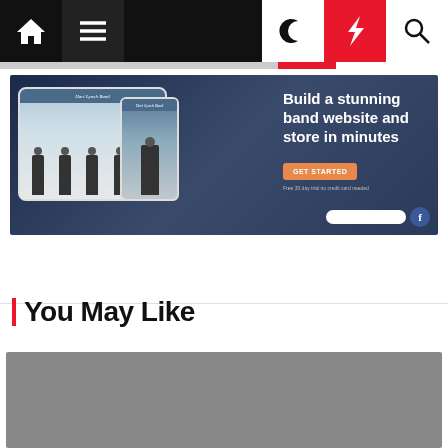Navigation bar with home, menu, moon, bolt, and search icons
[Figure (screenshot): Advertisement banner for Bandzoogle: 'Build a stunning band website and store in minutes' with tablet and phone mockup showing Hari Lynch Band website, orange GET STARTED button]
You May Like
[Figure (photo): Gray placeholder image for a recommended article]